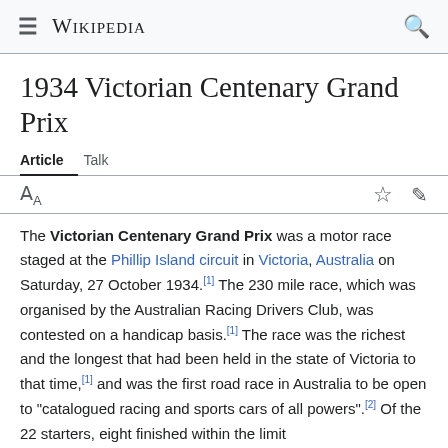Wikipedia
1934 Victorian Centenary Grand Prix
Article  Talk
The Victorian Centenary Grand Prix was a motor race staged at the Phillip Island circuit in Victoria, Australia on Saturday, 27 October 1934.[1] The 230 mile race, which was organised by the Australian Racing Drivers Club, was contested on a handicap basis.[1] The race was the richest and the longest that had been held in the state of Victoria to that time,[1] and was the first road race in Australia to be open to "catalogued racing and sports cars of all powers".[2] Of the 22 starters, eight finished within the limit